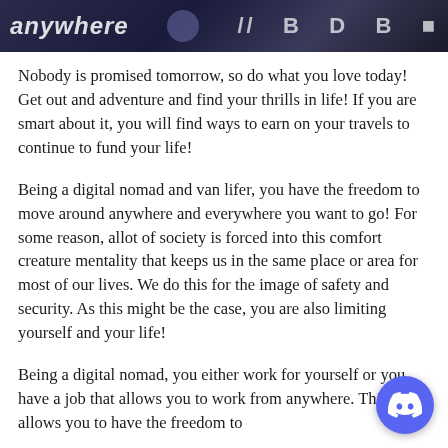[Figure (photo): Dark banner image with stylized italic text on the left and bold block letters on the right, on a dark blue/purple background]
Nobody is promised tomorrow, so do what you love today! Get out and adventure and find your thrills in life! If you are smart about it, you will find ways to earn on your travels to continue to fund your life!
Being a digital nomad and van lifer, you have the freedom to move around anywhere and everywhere you want to go! For some reason, allot of society is forced into this comfort creature mentality that keeps us in the same place or area for most of our lives. We do this for the image of safety and security. As this might be the case, you are also limiting yourself and your life!
Being a digital nomad, you either work for yourself or you have a job that allows you to work from anywhere. This allows you to have the freedom to